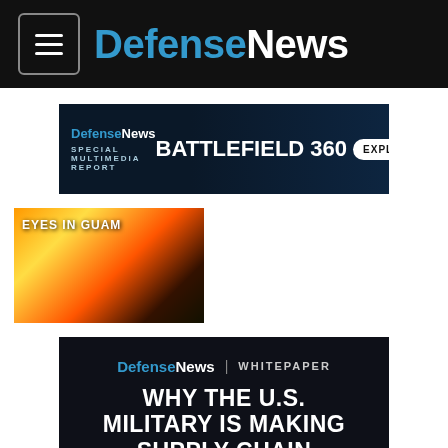DefenseNews
[Figure (screenshot): DefenseNews advertisement banner: BATTLEFIELD 360 SPECIAL MULTIMEDIA REPORT with EXPLORE button]
[Figure (photo): Thumbnail image with fire/explosion and text 'EYES IN GUAM']
[Figure (screenshot): DefenseNews whitepaper advertisement: WHY THE U.S. MILITARY IS MAKING SUPPLY CHAIN]